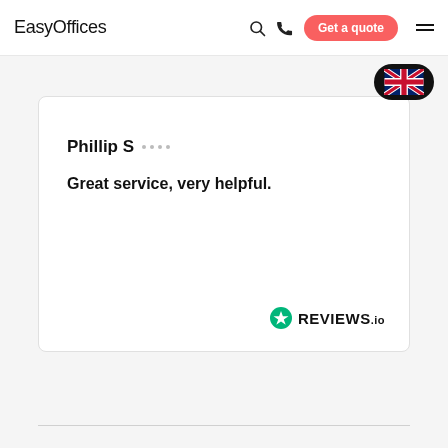EasyOffices
Phillip S
Great service, very helpful.
[Figure (logo): REVIEWS.io logo with green star icon]